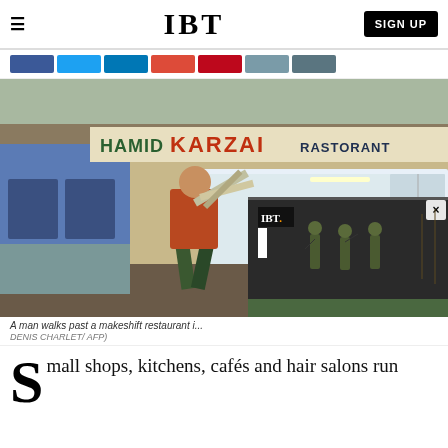IBT | SIGN UP
[Figure (photo): A man walks past a makeshift restaurant in a refugee camp with a sign reading HAMID KARZAI RASTORANT. The man is carrying wooden furniture frames. The building is blue with large windows and a tarp/tent structure.]
A man walks past a makeshift restaurant i... DENIS CHARLET/ AFP)
[Figure (photo): Overlay video widget showing soldiers/military personnel walking, with IBT logo overlay and a close (X) button]
Small shops, kitchens, cafés and hair salons run